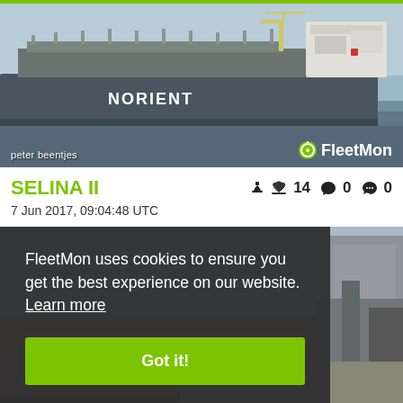[Figure (photo): Large cargo/tanker ship with 'NORIENT' text on hull, photographed in port/waterway. Photo credit: peter beentjes. FleetMon logo visible bottom right.]
SELINA II
👍 14  ❤ 0  💬 0
7 Jun 2017, 09:04:48 UTC
[Figure (photo): Second ship photo partially visible, with cookie consent overlay on left side.]
FleetMon uses cookies to ensure you get the best experience on our website. Learn more
Got it!